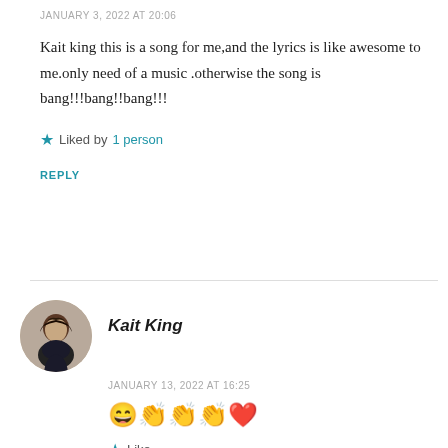JANUARY 3, 2022 AT 20:06
Kait king this is a song for me,and the lyrics is like awesome to me.only need of a music .otherwise the song is bang!!!bang!!bang!!!
Liked by 1 person
REPLY
Kait King
JANUARY 13, 2022 AT 16:25
😄👏👏👏❤️
Like